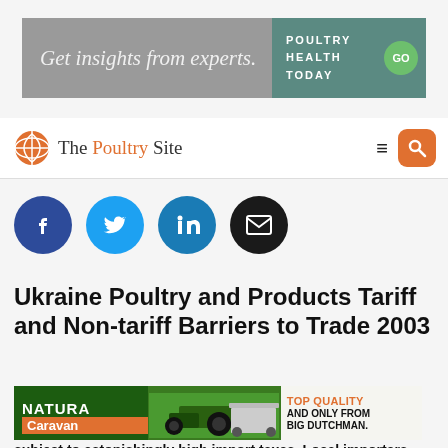[Figure (other): Advertisement banner: 'Get insights from experts.' with Poultry Health Today GO button]
[Figure (logo): The Poultry Site logo with navigation hamburger menu and search button]
[Figure (other): Social media sharing icons: Facebook, Twitter, LinkedIn, Email]
Ukraine Poultry and Products Tariff and Non-tariff Barriers to Trade 2003
[Figure (other): Advertisement: Natura Caravan - TOP QUALITY AND ONLY FROM BIG DUTCHMAN.]
subject to astonishingly high import taxes. Local importers